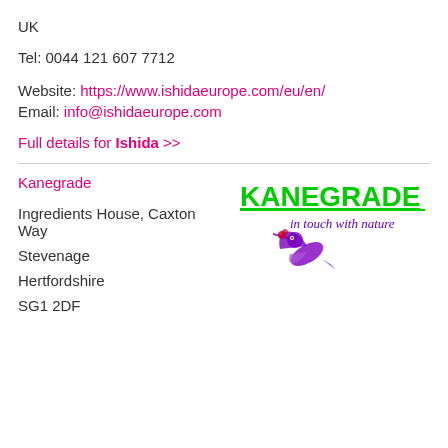UK
Tel: 0044 121 607 7712
Website: https://www.ishidaeurope.com/eu/en/
Email: info@ishidaeurope.com
Full details for Ishida >>
Kanegrade
[Figure (logo): Kanegrade logo with a hummingbird and tagline 'in touch with nature' in purple and green]
Ingredients House, Caxton Way
Stevenage
Hertfordshire
SG1 2DF